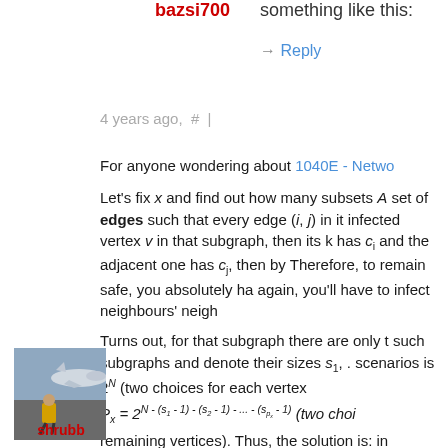bazsi700
something like this:
→ Reply
4 years ago,  #  |
For anyone wondering about 1040E - Netwo
Let's fix x and find out how many subsets A set of edges such that every edge (i, j) in it infected vertex v in that subgraph, then its k has c_i and the adjacent one has c_j, then by Therefore, to remain safe, you absolutely ha again, you'll have to infect neighbours' neigh
Turns out, for that subgraph there are only t such subgraphs and denote their sizes s1, . scenarios is 2^N (two choices for each vertex P_x = 2^(N-(s1-1)-(s2-1)-...-(sp_x-1)) (two choi remaining vertices). Thus, the solution is: in scenarios (it is 2^(N+k)), then find all such edg
[Figure (photo): Person in yellow vest crouching near airplane on tarmac]
shrubb